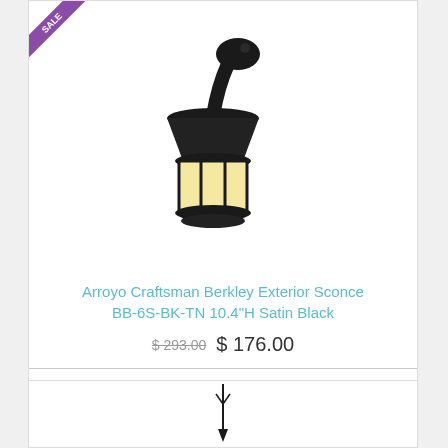[Figure (photo): Black outdoor wall sconce lantern with yellow/cream glass panels, mounted on a bracket, shown on white background. Purple sale badge in top-left corner.]
Arroyo Craftsman Berkley Exterior Sconce BB-6S-BK-TN 10.4"H Satin Black
$ 293.00  $ 176.00
Add to cart
Add to wishlist
[Figure (photo): Partial view of another product (pendant light) at the bottom of the page, partially visible.]